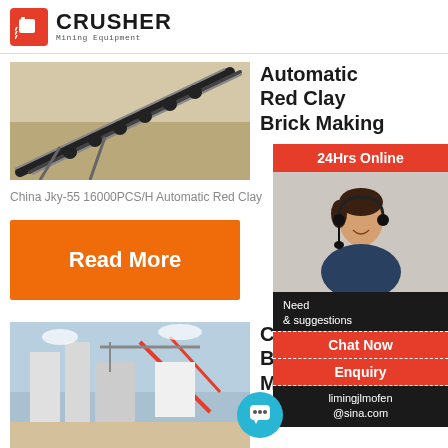CRUSHER Mining Equipment
[Figure (photo): Aerial view of a conveyor belt system carrying material at a mining site]
Automatic Red Clay Brick Making
China Jky-55 16000PCS/H Automatic Red Clay
Read More
[Figure (photo): Industrial plant or factory exterior with silos and structural frames]
China Brick Machine Used in
[Figure (photo): Customer service representative with headset - 24Hrs Online sidebar widget]
24Hrs Online
Need & suggestions
Chat Now
Enquiry
limingjlmofen@sina.com